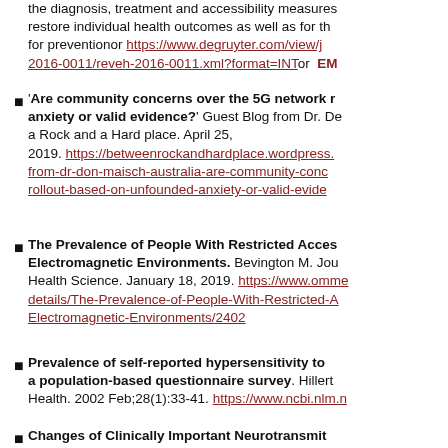the diagnosis, treatment and accessibility measures restore individual health outcomes as well as for the for preventionor https://www.degruyter.com/view/j... 2016-0011/reveh-2016-0011.xml?format=INTor EM...
'Are community concerns over the 5G network r... anxiety or valid evidence?' Guest Blog from Dr. D... a Rock and a Hard place. April 25, 2019. https://betweenrockandhardplace.wordpress.... from-dr-don-maisch-australia-are-community-conc... rollout-based-on-unfounded-anxiety-or-valid-evide...
The Prevalence of People With Restricted Acces... Electromagnetic Environments. Bevington M. Jou... Health Science. January 18, 2019. https://www.omme... details/The-Prevalence-of-People-With-Restricted-A... Electromagnetic-Environments/2402
Prevalence of self-reported hypersensitivity to a population-based questionnaire survey. Hillert... Health. 2002 Feb;28(1):33-41. https://www.ncbi.nlm.n...
Changes of Clinically Important Neurotransmit...